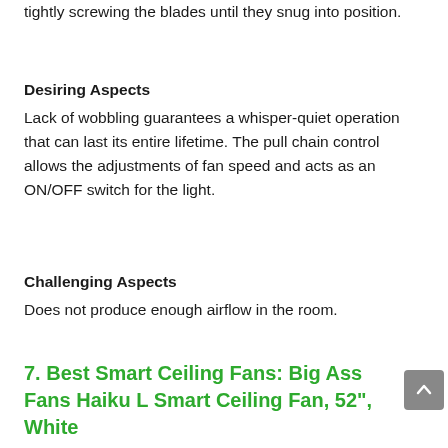tightly screwing the blades until they snug into position.
Desiring Aspects
Lack of wobbling guarantees a whisper-quiet operation that can last its entire lifetime. The pull chain control allows the adjustments of fan speed and acts as an ON/OFF switch for the light.
Challenging Aspects
Does not produce enough airflow in the room.
7. Best Smart Ceiling Fans: Big Ass Fans Haiku L Smart Ceiling Fan, 52", White